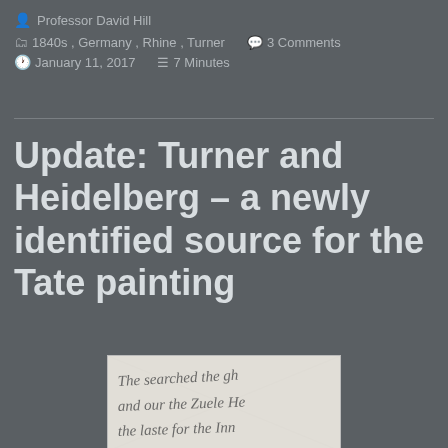Professor David Hill
1840s, Germany, Rhine, Turner   3 Comments
January 11, 2017   7 Minutes
Update: Turner and Heidelberg – a newly identified source for the Tate painting
[Figure (photo): A handwritten manuscript page showing cursive script text, partially visible, appearing to be historical handwriting on aged paper.]